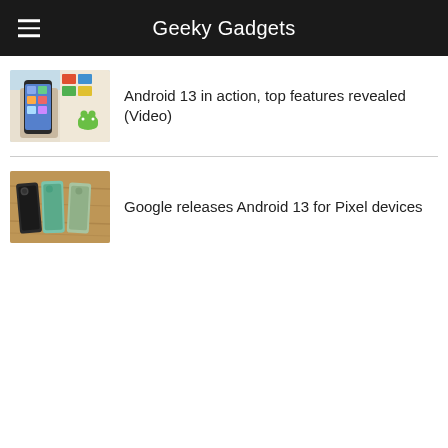Geeky Gadgets
[Figure (photo): Thumbnail showing someone holding a smartphone with colorful app icons on screen]
Android 13 in action, top features revealed (Video)
[Figure (photo): Thumbnail showing two Pixel phones laid flat on a wooden surface]
Google releases Android 13 for Pixel devices